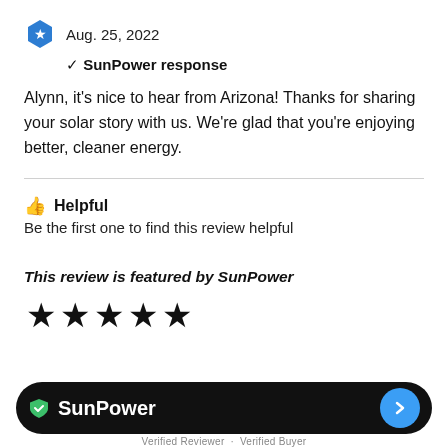Aug. 25, 2022
✓ SunPower response
Alynn, it's nice to hear from Arizona! Thanks for sharing your solar story with us. We're glad that you're enjoying better, cleaner energy.
👍 Helpful
Be the first one to find this review helpful
This review is featured by SunPower
[Figure (other): Five black star rating icons]
[Figure (logo): SunPower logo with green shield checkmark on black pill-shaped bar with blue arrow button]
Verified Reviewer · Verified Buyer